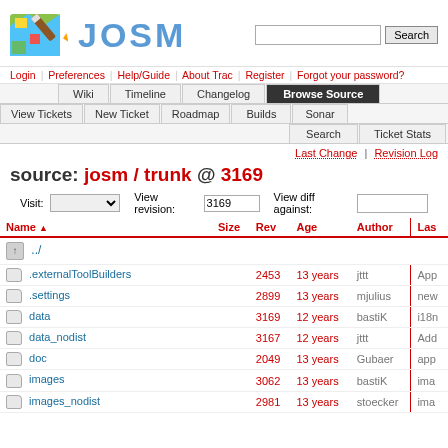[Figure (logo): JOSM map logo with pencil]
JOSM
Login | Preferences | Help/Guide | About Trac | Register | Forgot your password?
Wiki | Timeline | Changelog | Browse Source
View Tickets | New Ticket | Roadmap | Builds | Sonar
Search | Ticket Stats
Last Change | Revision Log
source: josm / trunk @ 3169
Visit: [dropdown] View revision: 3169 View diff against: [input]
| Name | Size | Rev | Age | Author | Las |
| --- | --- | --- | --- | --- | --- |
| ../ |  |  |  |  |  |
| .externalToolBuilders |  | 2453 | 13 years | jttt | App |
| .settings |  | 2899 | 13 years | mjulius | new |
| data |  | 3169 | 12 years | bastiK | i18n |
| data_nodist |  | 3167 | 12 years | jttt | Add |
| doc |  | 2049 | 13 years | Gubaer | app |
| images |  | 3062 | 13 years | bastiK | ima |
| images_nodist |  | 2981 | 13 years | stoecker | ima |